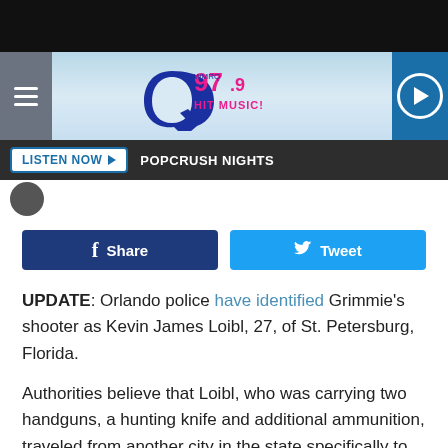[Figure (screenshot): Q97.9 Hit Music radio station website header with logo, hamburger menu, play button, Listen Now bar with POPCRUSH NIGHTS text, Facebook Share and Tweet social buttons]
UPDATE: Orlando police have identified Grimmie's shooter as Kevin James Loibl, 27, of St. Petersburg, Florida.
Authorities believe that Loibl, who was carrying two handguns, a hunting knife and additional ammunition, traveled from another city in the state specifically to kill Grimmie, though his reason for the murder is still unclear.
Police continue to search his belongings — including his cell-